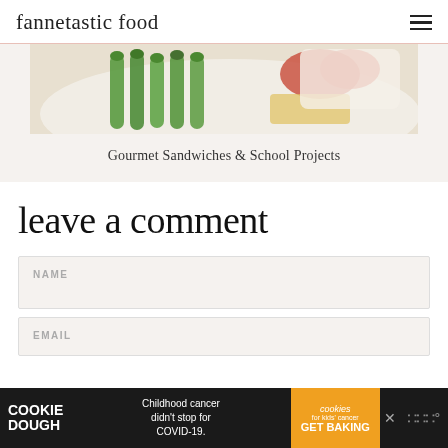fannetastic food
[Figure (photo): Food photo showing green asparagus and other ingredients on a plate, partially cropped]
Gourmet Sandwiches & School Projects
leave a comment
NAME
EMAIL
[Figure (other): Advertisement banner: COOKIE DOUGH - Childhood cancer didn't stop for COVID-19. cookies for kids cancer GET BAKING]